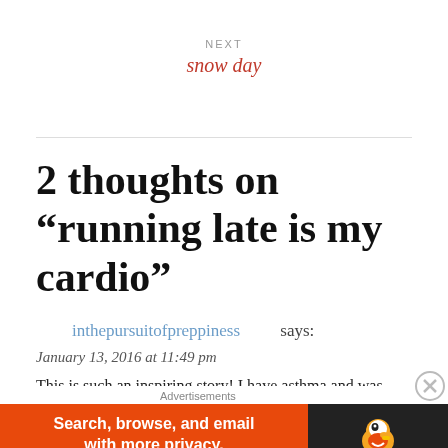NEXT
snow day
2 thoughts on “running late is my cardio”
inthepursuitofpreppiness says:
January 13, 2016 at 11:49 pm
This is such an inspiring story! I have asthma and was constantly told
Advertisements
[Figure (infographic): DuckDuckGo advertisement banner: Search, browse, and email with more privacy. All in One Free App. Shows DuckDuckGo logo with orange background.]